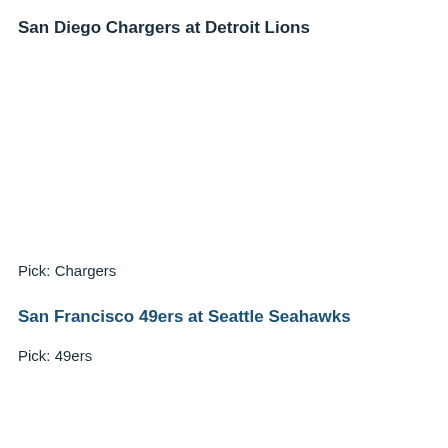San Diego Chargers at Detroit Lions
Pick: Chargers
San Francisco 49ers at Seattle Seahawks
Pick: 49ers